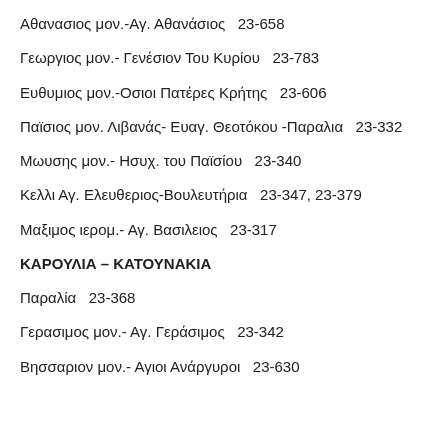Αθανασιος μον.-Αγ. Αθανάσιος  23-658
Γεωργιος μον.- Γενέσιον Του Κυρίου  23-783
Ευθυμιος μον.-Οσιοι Πατέρες Κρήτης  23-606
Παϊσιος μον. Λιβανάς- Ευαγ. Θεοτόκου -Παραλια  23-332
Μωυσης μον.- Ησυχ. του Παϊσίου  23-340
Κελλι Αγ. Ελευθεριος-Βουλευτήρια  23-347, 23-379
Μαξιμος ιερομ.- Αγ. Βασιλειος  23-317
ΚΑΡΟΥΛΙΑ – ΚΑΤΟΥΝΑΚΙΑ
Παραλία  23-368
Γερασιμος μον.- Αγ. Γεράσιμος  23-342
Βησσαριον μον.- Αγιοι Ανάργυροι  23-630